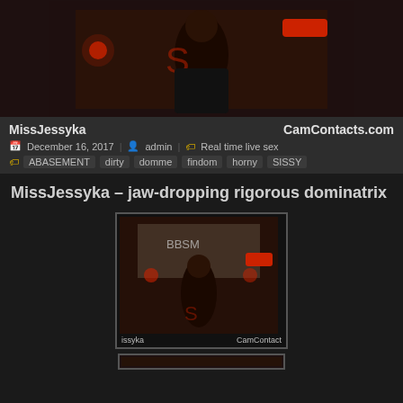[Figure (photo): Woman in dark room with decorations, sitting in chair, dim reddish lighting]
MissJessyka   CamContacts.com
December 16, 2017   admin   Real time live sex
ABASEMENT  dirty  domme  findom  horny  SISSY
MissJessyka – jaw-dropping rigorous dominatrix
[Figure (photo): Smaller thumbnail of same woman in BDSM decorated room, with watermark text issyka and CamContact]
[Figure (photo): Bottom partially visible thumbnail]